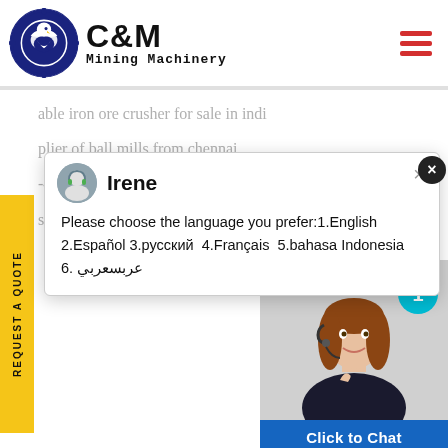[Figure (logo): C&M Mining Machinery logo with eagle gear emblem]
REQUEST A QUOTE
[Figure (screenshot): Chat popup with agent Irene showing language selection options]
Please choose the language you prefer:1.English  2.Español 3.русский  4.Français  5.bahasa Indonesia   6. عربسعربي
able iron ore crusher for sale in indi
plier of ball mills from chennai
-450tph aggregate crusher for sale
scale stone crushing machine from nig
[Figure (photo): Customer service agent photo with headset, Click to Chat button, and Enquiry label]